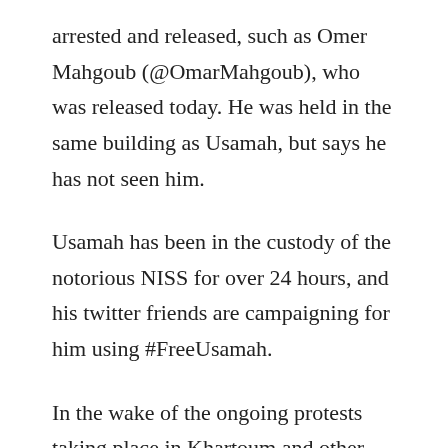arrested and released, such as Omer Mahgoub (@OmarMahgoub), who was released today. He was held in the same building as Usamah, but says he has not seen him.
Usamah has been in the custody of the notorious NISS for over 24 hours, and his twitter friends are campaigning for him using #FreeUsamah.
In the wake of the ongoing protests taking place in Khartoum and other states calling on the fall of the regime, numerous other